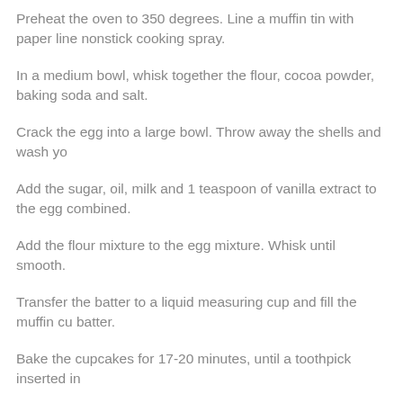Preheat the oven to 350 degrees. Line a muffin tin with paper line nonstick cooking spray.
In a medium bowl, whisk together the flour, cocoa powder, baking soda and salt.
Crack the egg into a large bowl. Throw away the shells and wash yo
Add the sugar, oil, milk and 1 teaspoon of vanilla extract to the egg combined.
Add the flour mixture to the egg mixture. Whisk until smooth.
Transfer the batter to a liquid measuring cup and fill the muffin cu batter.
Bake the cupcakes for 17-20 minutes, until a toothpick inserted in